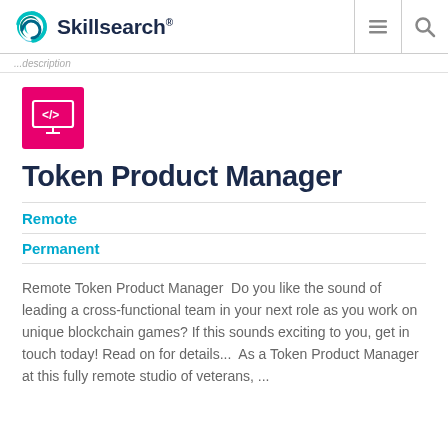Skillsearch®
...description
[Figure (logo): Pink square icon with a code/monitor symbol (</> on a screen)]
Token Product Manager
Remote
Permanent
Remote Token Product Manager  Do you like the sound of leading a cross-functional team in your next role as you work on unique blockchain games? If this sounds exciting to you, get in touch today! Read on for details...  As a Token Product Manager at this fully remote studio of veterans, ...